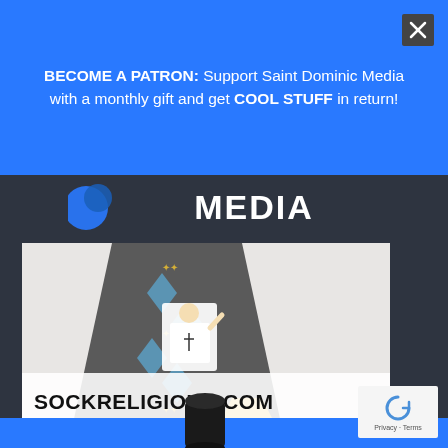BECOME A PATRON: Support Saint Dominic Media with a monthly gift and get COOL STUFF in return!
[Figure (screenshot): Screenshot of a website (Saint Dominic Media) with a blue promotional banner at top reading 'BECOME A PATRON: Support Saint Dominic Media with a monthly gift and get COOL STUFF in return!', a close (X) button, a dark background with 'MEDIA' logo text, and a product image of Pope-themed socks with the text 'SOCKRELIGIOUS.COM' overlaid, plus a partial reCAPTCHA badge in the bottom right.]